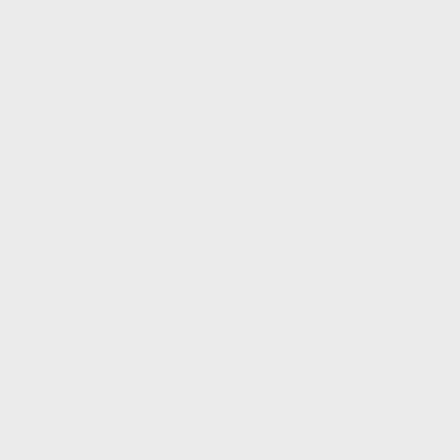(Hope you don't mind, I corrected your 'indenting'.) Not really true. They did indeed test them. They may have accelerated 'normal' testing cycles and given provisional Emergency Use status, while further trial results were pending, but that was based on favourable (and, vitally, non-adverse) early but still thorough Phase III results. As well as stupid political stuff and other malicious misinformation, which is probably putting far more lives at risk than...